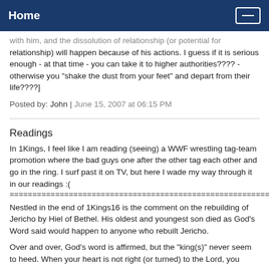Home
with him, and the dissolution of relationship (or potential for relationship) will happen because of his actions. I guess if it is serious enough - at that time - you can take it to higher authorities???? - otherwise you "shake the dust from your feet" and depart from their life????]
Posted by: John | June 15, 2007 at 06:15 PM
Readings
In 1Kings, I feel like I am reading (seeing) a WWF wrestling tag-team promotion where the bad guys one after the other tag each other and go in the ring. I surf past it on TV, but here I wade my way through it in our readings :(
================================================================
Nestled in the end of 1Kings16 is the comment on the rebuilding of Jericho by Hiel of Bethel. His oldest and youngest son died as God's Word said would happen to anyone who rebuilt Jericho.
Over and over, God's word is affirmed, but the "king(s)" never seem to heed. When your heart is not right (or turned) to the Lord, you